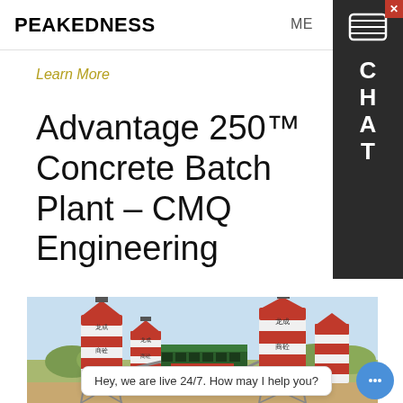PEAKEDNESS
Learn More
Advantage 250™ Concrete Batch Plant – CMQ Engineering
[Figure (photo): Concrete batch plant facility with large red and white cylindrical silos labeled in Chinese characters, a central green-roofed building, and surrounding industrial equipment against a hillside backdrop.]
Hey, we are live 24/7. How may I help you?